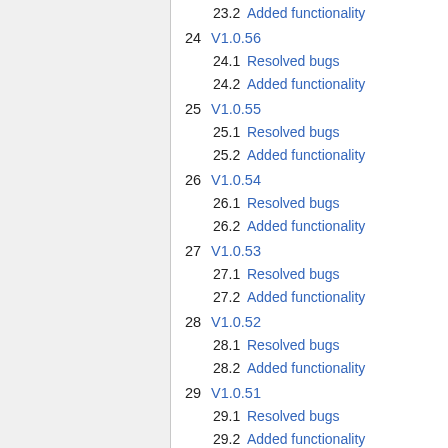23.2  Added functionality
24  V1.0.56
24.1  Resolved bugs
24.2  Added functionality
25  V1.0.55
25.1  Resolved bugs
25.2  Added functionality
26  V1.0.54
26.1  Resolved bugs
26.2  Added functionality
27  V1.0.53
27.1  Resolved bugs
27.2  Added functionality
28  V1.0.52
28.1  Resolved bugs
28.2  Added functionality
29  V1.0.51
29.1  Resolved bugs
29.2  Added functionality
30  V1.0.50